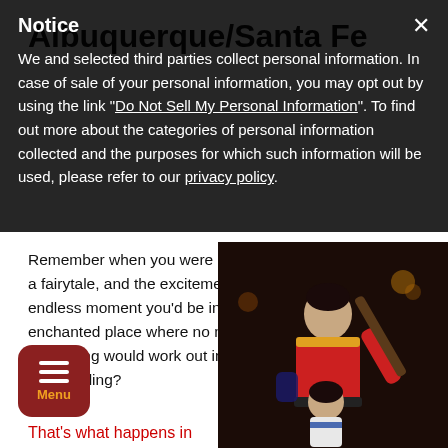Albuquerque/Santa Fe
Notice
We and selected third parties collect personal information. In case of sale of your personal information, you may opt out by using the link "Do Not Sell My Personal Information". To find out more about the categories of personal information collected and the purposes for which such information will be used, please refer to our privacy policy.
Remember when you were little and someone read you a fairytale, and the excitement knowing that short yet endless moment you'd be in another realm, an enchanted place where no matter what happened, everything would work out in the end—the "once upon a time" feeling?
[Figure (photo): Two performers in costume: one dressed as Gaston (red and yellow outfit, holding a musket), one dressed as Belle (blue and white outfit), against a dark theatrical background.]
That's what happens in